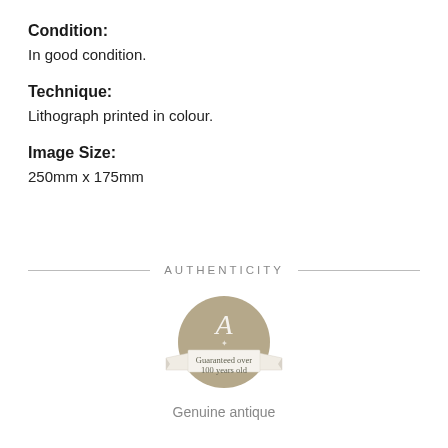Condition:
In good condition.
Technique:
Lithograph printed in colour.
Image Size:
250mm x 175mm
[Figure (logo): Authenticity badge: circular tan/khaki badge with ornate letter A at top, banner ribbon across middle reading 'Guaranteed over 100 years old', decorative design. Section headed by horizontal rule with 'AUTHENTICITY' text centered. Below badge reads 'Genuine antique'.]
Genuine antique